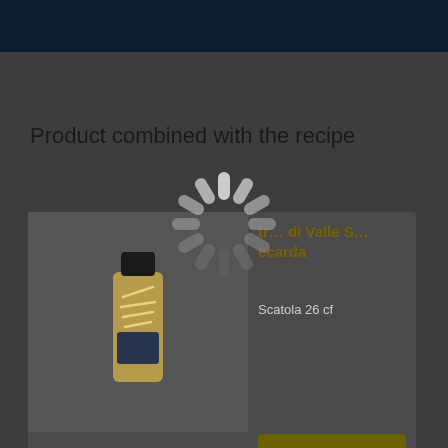Product combined with the recipe
[Figure (photo): Product card showing a pasta bottle (Trofie di Valle Saccarda) with image on the left and product name, unit (Scatola 26 cf), and a 'go to the card >' button on the right.]
Scatola 26 cf
go to the card >
[Figure (other): Animated loading spinner overlay (circular dashed ring of white/grey rounded bars) centered on the page.]